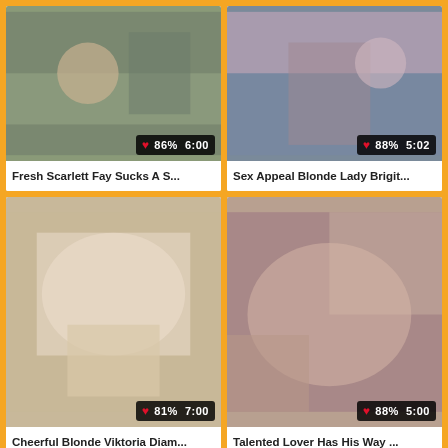[Figure (photo): Video thumbnail with badge showing 86% rating and 6:00 duration]
Fresh Scarlett Fay Sucks A S...
[Figure (photo): Video thumbnail with badge showing 88% rating and 5:02 duration]
Sex Appeal Blonde Lady Brigit...
[Figure (photo): Video thumbnail with badge showing 81% rating and 7:00 duration]
Cheerful Blonde Viktoria Diam...
[Figure (photo): Video thumbnail with badge showing 88% rating and 5:00 duration]
Talented Lover Has His Way ...
[Figure (photo): Video thumbnail bottom left, no badge visible]
[Figure (photo): Video thumbnail bottom right, no badge visible]